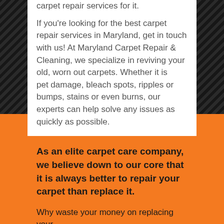carpet repair services for it.

If you're looking for the best carpet repair services in Maryland, get in touch with us! At Maryland Carpet Repair & Cleaning, we specialize in reviving your old, worn out carpets. Whether it is pet damage, bleach spots, ripples or bumps, stains or even burns, our experts can help solve any issues as quickly as possible.
As an elite carpet care company, we believe down to our core that it is always better to repair your carpet than replace it.
Why waste your money on replacing your